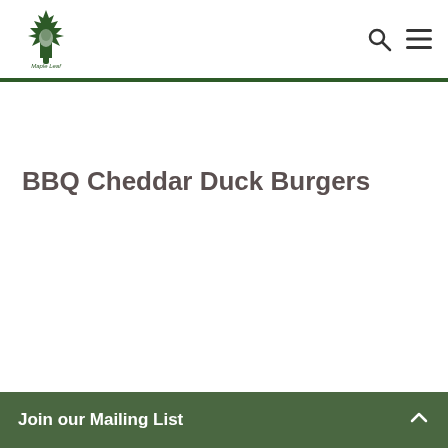Maple Leaf Farms
BBQ Cheddar Duck Burgers
Join our Mailing List